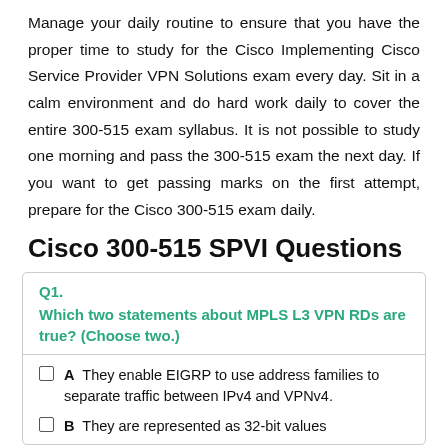Manage your daily routine to ensure that you have the proper time to study for the Cisco Implementing Cisco Service Provider VPN Solutions exam every day. Sit in a calm environment and do hard work daily to cover the entire 300-515 exam syllabus. It is not possible to study one morning and pass the 300-515 exam the next day. If you want to get passing marks on the first attempt, prepare for the Cisco 300-515 exam daily.
Cisco 300-515 SPVI Questions
Q1.
Which two statements about MPLS L3 VPN RDs are true? (Choose two.)
A  They enable EIGRP to use address families to separate traffic between IPv4 and VPNv4.
B  They are represented as 32-bit values